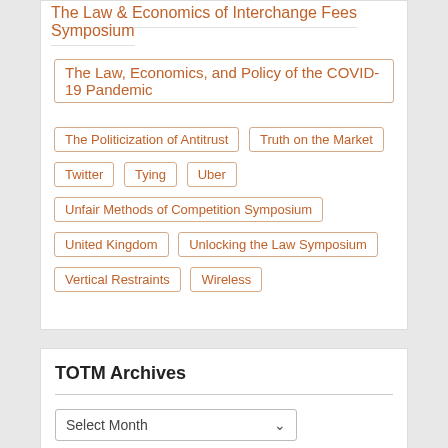The Law & Economics of Interchange Fees Symposium
The Law, Economics, and Policy of the COVID-19 Pandemic
The Politicization of Antitrust
Truth on the Market
Twitter
Tying
Uber
Unfair Methods of Competition Symposium
United Kingdom
Unlocking the Law Symposium
Vertical Restraints
Wireless
TOTM Archives